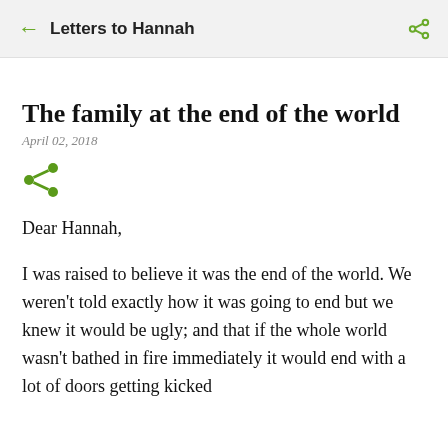Letters to Hannah
The family at the end of the world
April 02, 2018
[Figure (illustration): Share icon — green branching share symbol]
Dear Hannah,
I was raised to believe it was the end of the world. We weren't told exactly how it was going to end but we knew it would be ugly; and that if the whole world wasn't bathed in fire immediately it would end with a lot of doors getting kicked